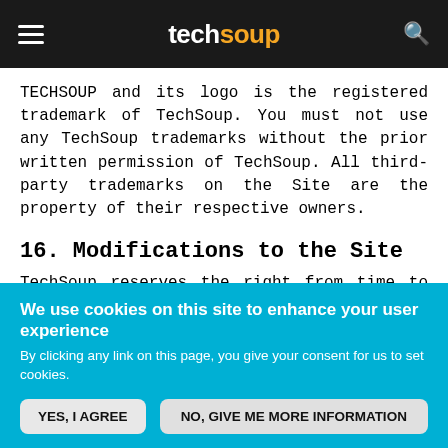techsoup
TECHSOUP and its logo is the registered trademark of TechSoup. You must not use any TechSoup trademarks without the prior written permission of TechSoup. All third-party trademarks on the Site are the property of their respective owners.
16. Modifications to the Site
TechSoup reserves the right from time to time to modify the Site, suspend access to all or portions of
We use cookies on this site to enhance your user experience
By clicking any link on this page, you give your consent for us to set cookies.
YES, I AGREE
NO, GIVE ME MORE INFORMATION